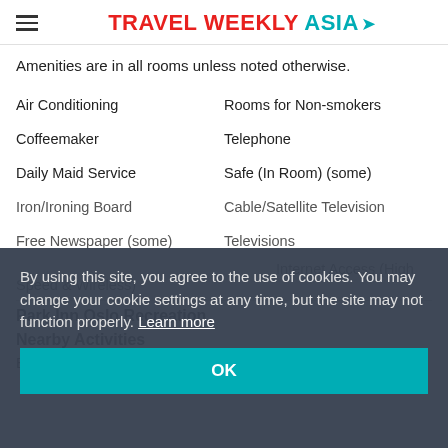TRAVEL WEEKLY ASIA
Amenities are in all rooms unless noted otherwise.
Air Conditioning
Rooms for Non-smokers
Coffeemaker
Telephone
Daily Maid Service
Safe (In Room) (some)
Iron/Ironing Board
Cable/Satellite Television
Free Newspaper (some)
Televisions
Internet Access (High Speed & Wireless)
Park Inn Oslo Recreation
Nearby Activities
Bicycling
By using this site, you agree to the use of cookies. You may change your cookie settings at any time, but the site may not function properly. Learn more